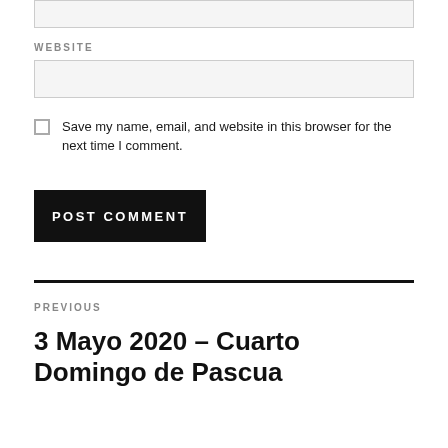[input box top]
WEBSITE
[website input box]
Save my name, email, and website in this browser for the next time I comment.
POST COMMENT
PREVIOUS
3 Mayo 2020 – Cuarto Domingo de Pascua